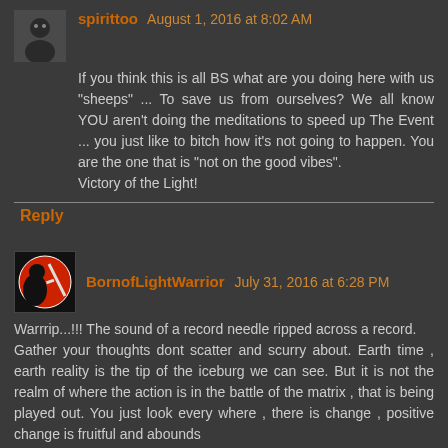spirittoo August 1, 2016 at 8:02 AM
If you think this is all BS what are you doing here with us "sheeps" ... To save us from ourselves? We all know YOU aren't doing the meditations to speed up The Event ... you just like to bitch how it's not going to happen. You are the one that is "not on the good vibes".
Victory of the Light!
Reply
BornofLightWarrior July 31, 2016 at 6:28 PM
Warrrip...!!! The sound of a record needle ripped across a record.
Gather your thoughts dont scatter and scurry about. Earth time , earth reality is the tip of the iceburg we can see. But it is not the realm of where the action is in the battle of the matrix , that is being played out. You just look every where , there is change , positive change is fruitful and abounds